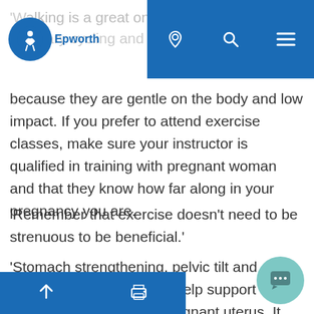Epworth
'Walking is a great one, along with stationary cycling and low impact aerobics because they are gentle on the body and low impact. If you prefer to attend exercise classes, make sure your instructor is qualified in training with pregnant woman and that they know how far along in your pregnancy you are.
'Remember that exercise doesn't need to be strenuous to be beneficial.'
'Stomach strengthening, pelvic tilt and pelvic floor exercises will help support the growing weight of your pregnant uterus. It also strengthens your joints, improves backache and can help your recovery after your baby is born.'